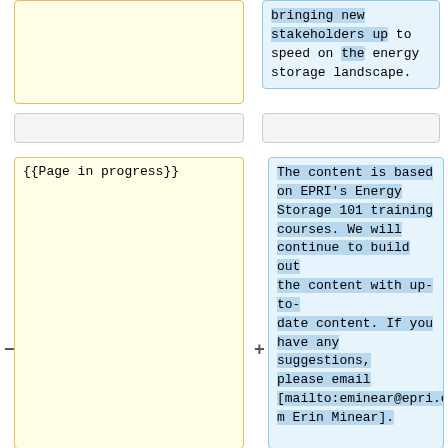bringing new stakeholders up to speed on the energy storage landscape.
{{Page in progress}}
The content is based on EPRI's Energy Storage 101 training courses. We will continue to build out the content with up-to-date content. If you have any suggestions, please email [mailto:eminear@epri.com Erin Minear].
=State of Energy Storage: [[Energy